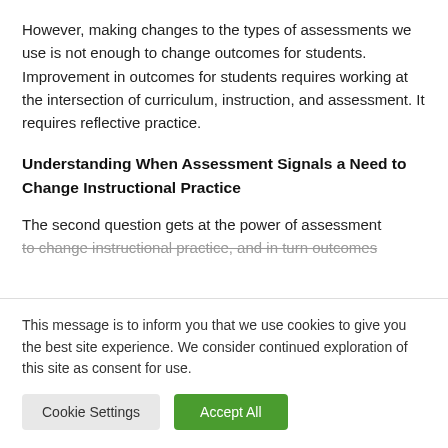However, making changes to the types of assessments we use is not enough to change outcomes for students. Improvement in outcomes for students requires working at the intersection of curriculum, instruction, and assessment. It requires reflective practice.
Understanding When Assessment Signals a Need to Change Instructional Practice
The second question gets at the power of assessment to change instructional practice, and in turn outcomes...
This message is to inform you that we use cookies to give you the best site experience. We consider continued exploration of this site as consent for use.